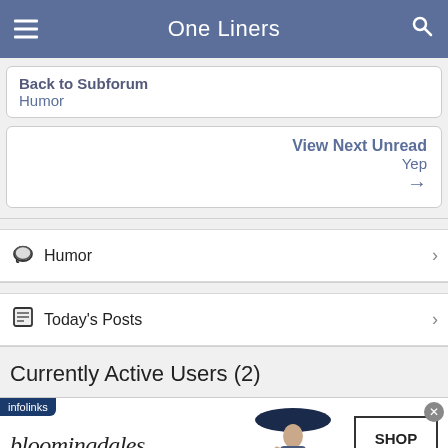One Liners
Back to Subforum
Humor
View Next Unread
Yep
→
Humor
Today's Posts
Currently Active Users (2)
[Figure (screenshot): Bloomingdale's advertisement banner: bloomingdales logo with 'View Today's Top Deals!' tagline, woman in wide-brim hat, and SHOP NOW > button. Infolinks label in top-left, close button (x) in top-right.]